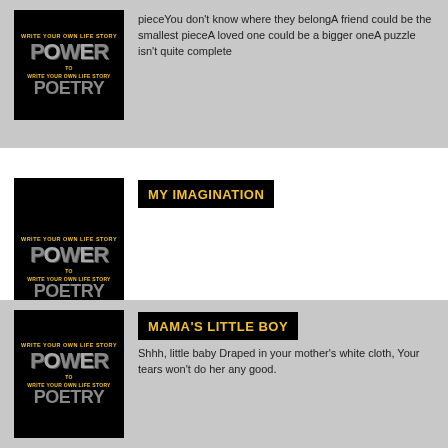[Figure (illustration): Book cover for Power to Write Your Own Life Story Poetry, black background with yellow and gray stylized text]
pieceYou don't know where they belongA friend could be the smallest pieceA loved one could be a bigger oneA puzzle isn't quite complete
[Figure (illustration): Book cover for Power to Write Your Own Life Story Poetry, black background with yellow and gray stylized text]
MY IMAGINATION
[Figure (illustration): Book cover for Power to Write Your Own Life Story Poetry, black background with yellow and gray stylized text]
MAMA'S LITTLE BOY
Shhh, little baby Draped in your mother's white cloth, Your tears won't do her any good.